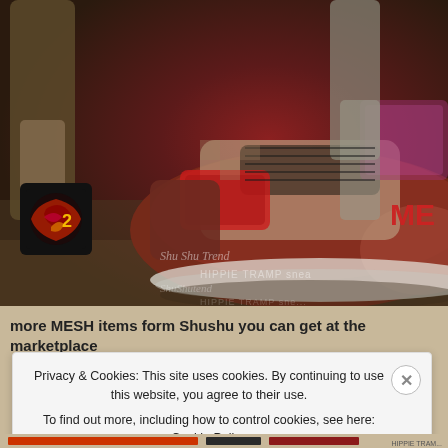[Figure (photo): Close-up of a red and tan mesh sneaker (HIPPIE TRAMP) with Shushu brand logo in corner, watermark text overlay, two figures standing in background]
more MESH items form Shushu you can get at the marketplace
Privacy & Cookies: This site uses cookies. By continuing to use this website, you agree to their use.
To find out more, including how to control cookies, see here: Cookie Policy
Close and accept